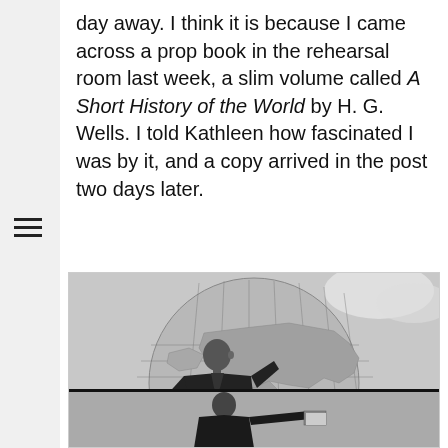day away. I think it is because I came across a prop book in the rehearsal room last week, a slim volume called A Short History of the World by H. G. Wells. I told Kathleen how fascinated I was by it, and a copy arrived in the post two days later.
[Figure (photo): Black and white photograph of a man in a dark suit looking upward, posed in front of a large globe showing a world map. The image appears to be from the early-to-mid 20th century. A second partial image below appears to show a figure with an outstretched arm.]